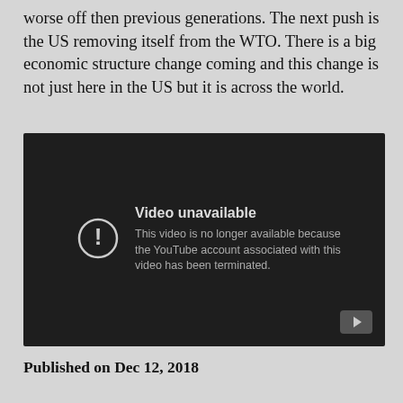worse off then previous generations. The next push is the US removing itself from the WTO. There is a big economic structure change coming and this change is not just here in the US but it is across the world.
[Figure (screenshot): Embedded YouTube video player showing 'Video unavailable' error message: 'This video is no longer available because the YouTube account associated with this video has been terminated.' with a warning icon and YouTube play button.]
Published on Dec 12, 2018